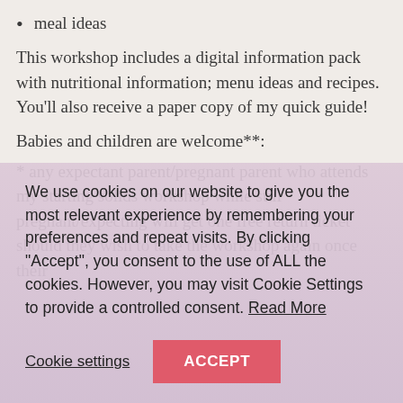meal ideas
This workshop includes a digital information pack with nutritional information; menu ideas and recipes. You'll also receive a paper copy of my quick guide!
Babies and children are welcome**:
* any expectant parent/pregnant parent who attends my starting solids workshop while still pregnant/expecting will get one free return ticket should they wish to take the workshop again once their
We use cookies on our website to give you the most relevant experience by remembering your preferences and repeat visits. By clicking “Accept”, you consent to the use of ALL the cookies. However, you may visit Cookie Settings to provide a controlled consent. Read More
Cookie settings
ACCEPT